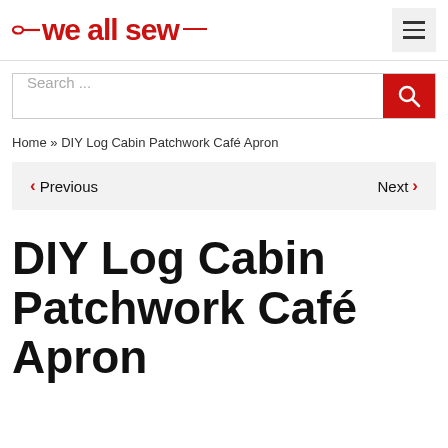we all sew
Search ...
Home » DIY Log Cabin Patchwork Café Apron
< Previous   Next >
DIY Log Cabin Patchwork Café Apron